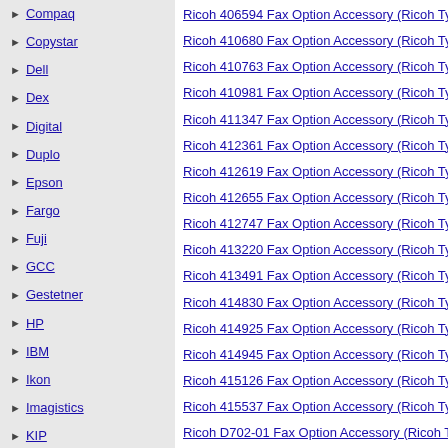Compaq
Copystar
Dell
Dex
Digital
Duplo
Epson
Fargo
Fuji
GCC
Gestetner
HP
IBM
Ikon
Imagistics
KIP
Kodak
Konica-Minolta
Kyocera-Mita
Lanier
Lexmark
Mimaki
Murata-Muratec
Ricoh 406594 Fax Option Accessory (Ricoh Type SP...
Ricoh 410680 Fax Option Accessory (Ricoh Type 10...
Ricoh 410763 Fax Option Accessory (Ricoh Type 10...
Ricoh 410981 Fax Option Accessory (Ricoh Type 10...
Ricoh 411347 Fax Option Accessory (Ricoh Type 20...
Ricoh 412361 Fax Option Accessory (Ricoh Type 30...
Ricoh 412619 Fax Option Accessory (Ricoh Type 30...
Ricoh 412655 Fax Option Accessory (Ricoh Type 20...
Ricoh 412747 Fax Option Accessory (Ricoh Type C...
Ricoh 413220 Fax Option Accessory (Ricoh Type C3...
Ricoh 413491 Fax Option Accessory (Ricoh Type 75...
Ricoh 414830 Fax Option Accessory (Ricoh Type C9...
Ricoh 414925 Fax Option Accessory (Ricoh Type C2...
Ricoh 414945 Fax Option Accessory (Ricoh Type 90...
Ricoh 415126 Fax Option Accessory (Ricoh Type C4...
Ricoh 415537 Fax Option Accessory (Ricoh Type C2...
Ricoh D702-01 Fax Option Accessory (Ricoh Type N...
Xerox 498K05041 Fax Option